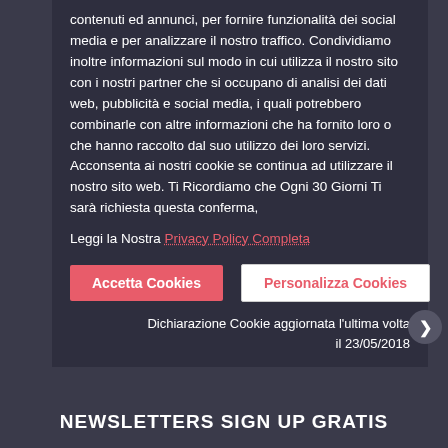contenuti ed annunci, per fornire funzionalità dei social media e per analizzare il nostro traffico. Condividiamo inoltre informazioni sul modo in cui utilizza il nostro sito con i nostri partner che si occupano di analisi dei dati web, pubblicità e social media, i quali potrebbero combinarle con altre informazioni che ha fornito loro o che hanno raccolto dal suo utilizzo dei loro servizi. Acconsenta ai nostri cookie se continua ad utilizzare il nostro sito web. Ti Ricordiamo che Ogni 30 Giorni Ti sarà richiesta questa conferma,
Leggi la Nostra Privacy Policy Completa
Accetta Cookies
Personalizza Cookies
Dichiarazione Cookie aggiornata l'ultima volta il 23/05/2018
NEWSLETTERS SIGN UP GRATIS